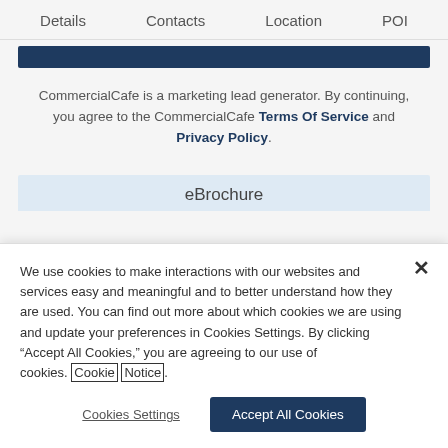Details    Contacts    Location    POI
CommercialCafe is a marketing lead generator. By continuing, you agree to the CommercialCafe Terms Of Service and Privacy Policy.
eBrochure
We use cookies to make interactions with our websites and services easy and meaningful and to better understand how they are used. You can find out more about which cookies we are using and update your preferences in Cookies Settings. By clicking “Accept All Cookies,” you are agreeing to our use of cookies. Cookie Notice.
Cookies Settings   Accept All Cookies